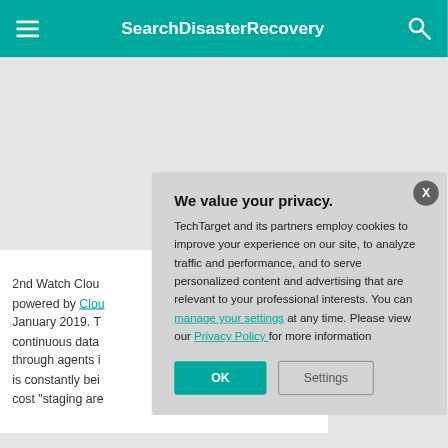SearchDisasterRecovery
2nd Watch Cloud powered by Clou January 2019. T continuous data through agents i is constantly bei cost "staging are
We value your privacy. TechTarget and its partners employ cookies to improve your experience on our site, to analyze traffic and performance, and to serve personalized content and advertising that are relevant to your professional interests. You can manage your settings at any time. Please view our Privacy Policy for more information
OK
Settings